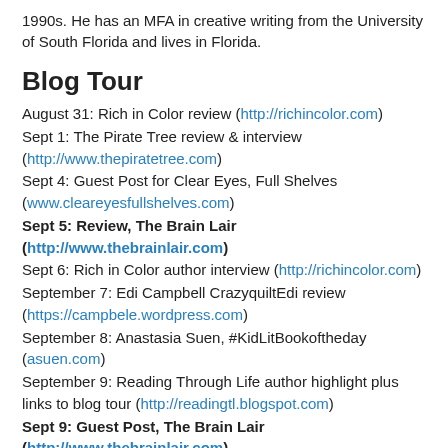1990s. He has an MFA in creative writing from the University of South Florida and lives in Florida.
Blog Tour
August 31: Rich in Color review (http://richincolor.com)
Sept 1: The Pirate Tree review & interview (http://www.thepiratetree.com)
Sept 4: Guest Post for Clear Eyes, Full Shelves (www.cleareyesfullshelves.com)
Sept 5: Review, The Brain Lair (http://www.thebrainlair.com)
Sept 6: Rich in Color author interview (http://richincolor.com)
September 7: Edi Campbell CrazyquiltEdi review (https://campbele.wordpress.com)
September 8: Anastasia Suen, #KidLitBookoftheday (asuen.com)
September 9: Reading Through Life author highlight plus links to blog tour (http://readingtl.blogspot.com)
Sept 9: Guest Post, The Brain Lair (http://www.thebrainlair.com)
September 12: Linda Washington